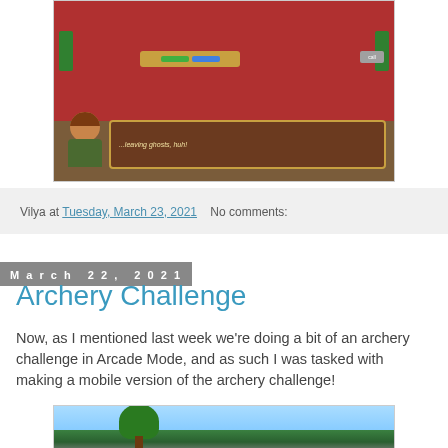[Figure (screenshot): Game screenshot showing an RPG indoor scene with a character with curly brown hair in a green outfit, dialogue box reading '...leaving ghosts, huh!', health/mana bars UI, red floor background, and decorative plants on sides.]
Vilya at Tuesday, March 23, 2021   No comments:
March 22, 2021
Archery Challenge
Now, as I mentioned last week we're doing a bit of an archery challenge in Arcade Mode, and as such I was tasked with making a mobile version of the archery challenge!
[Figure (screenshot): Game screenshot showing an outdoor scene with trees and stone structures on a cliff, with a blue sky background.]